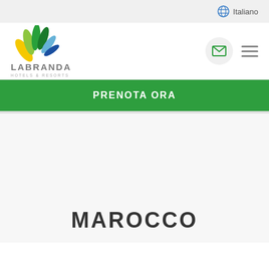Italiano
[Figure (logo): LABRANDA Hotels & Resorts logo with colorful leaf petals in green, blue, and yellow]
PRENOTA ORA
MAROCCO